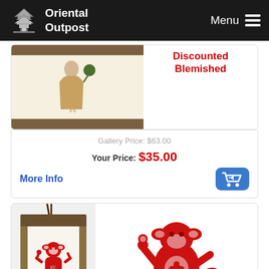Oriental Outpost | Menu
[Figure (photo): Partial view of a Chinese scroll painting showing a figure holding plants, mounted on brown silk, in a product card. Badge reads 'Discounted Blemished' in red.]
Gallery Price: $63.00
Your Price: $35.00
More Info
[Figure (photo): Chinese scroll painting featuring a red monkey papercut design, shown in two views: full scroll on dark khaki silk mount and close-up of the monkey figure.]